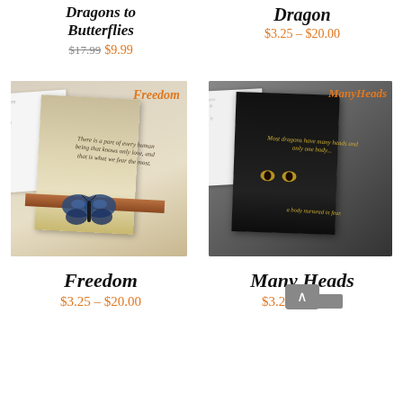Dragons to Butterflies
$17.99  $9.99
Dragon
$3.25 – $20.00
[Figure (photo): Book cover for 'Freedom' showing a blue butterfly resting on a wooden shelf with a quote card]
[Figure (photo): Book cover for 'Many Heads' showing a dark dragon-themed card with golden text and glowing eyes]
Freedom
$3.25 – $20.00
Many Heads
$3.25 – $20.00